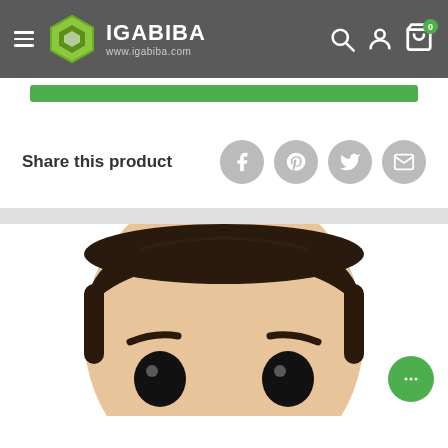IGABIBA www.igabiba.com
[Figure (screenshot): Green button bar below header]
Share this product
[Figure (illustration): Social share icons: Facebook, Pinterest, Twitter, Email]
[Figure (photo): Funko Pop vinyl figure head with dark hair, large black eyes, and eyebrows, partially cropped at bottom of page]